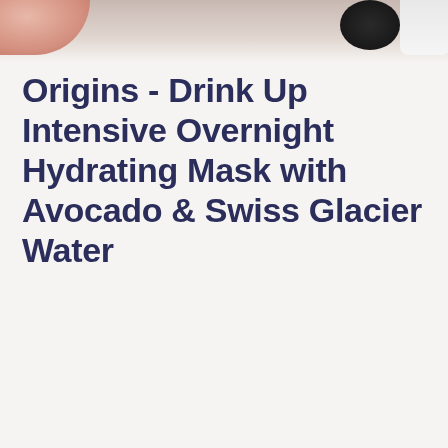[Figure (photo): Top portion of a cosmetics flatlay photo showing a pink finger, a dark bottle cap, and a white bottle cap on a light background]
Origins - Drink Up Intensive Overnight Hydrating Mask with Avocado & Swiss Glacier Water
[Figure (photo): Product image of Origins Drink Up Intensive Overnight Hydrating Mask in a green/yellow-green tube with white label, displayed in a white bordered box]